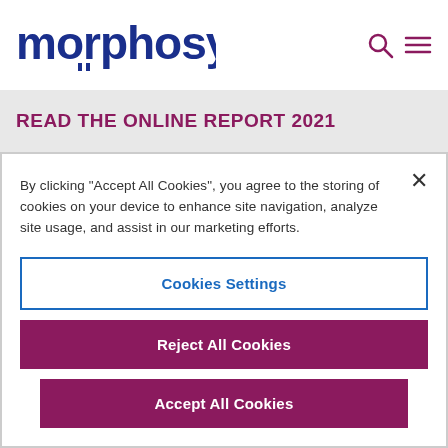[Figure (logo): MorphoSys company logo in dark blue with stylized letter marks]
READ THE ONLINE REPORT 2021
By clicking "Accept All Cookies", you agree to the storing of cookies on your device to enhance site navigation, analyze site usage, and assist in our marketing efforts.
Cookies Settings
Reject All Cookies
Accept All Cookies